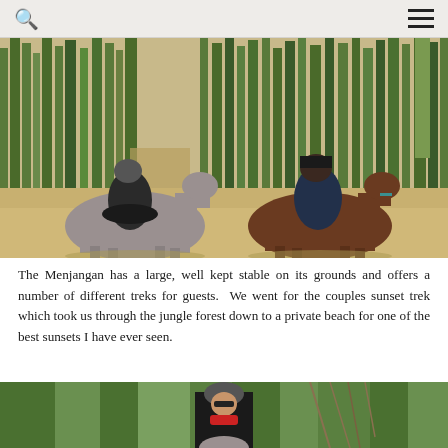search and menu navigation bar
[Figure (photo): Two riders on horseback on a sandy forest trail. On the left, a woman wearing a black helmet, sunglasses, black top, grey pants, and riding gloves sits on a grey horse. On the right, a man in a dark navy hoodie and jeans sits on a brown horse. Green trees and dry brush visible in the background.]
The Menjangan has a large, well kept stable on its grounds and offers a number of different treks for guests.  We went for the couples sunset trek which took us through the jungle forest down to a private beach for one of the best sunsets I have ever seen.
[Figure (photo): A woman wearing a black helmet, sunglasses, black top and red scarf stands in front of a grey horse. Dense green trees and bare branches visible in the background. Partial view of the horse's head at the bottom of the frame.]